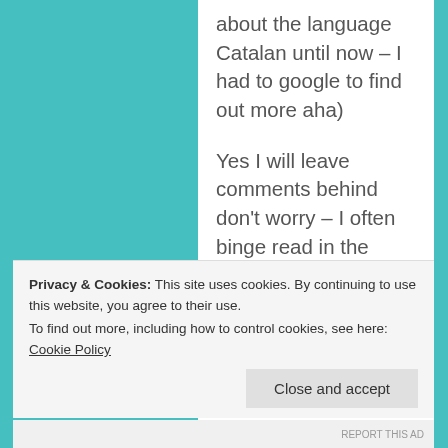about the language Catalan until now – I had to google to find out more aha)
Yes I will leave comments behind don't worry – I often binge read in the night 😂
I love your name! I forgot to mention that before
P.S yes we can! That would be amazing. My email is flawedsilence@gmail.com
Privacy & Cookies: This site uses cookies. By continuing to use this website, you agree to their use.
To find out more, including how to control cookies, see here: Cookie Policy
Close and accept